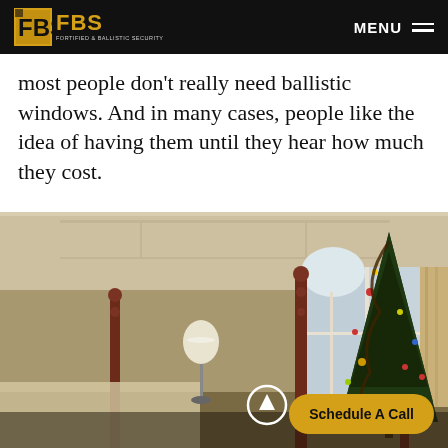FBS — FORTIFIED & BALLISTIC SECURITY | MENU
most people don't really need ballistic windows. And in many cases, people like the idea of having them until they hear how much they cost.
[Figure (photo): Interior bedroom photo with four-poster bed, large arched windows, and a tall decorated Christmas tree. A lamp and luxurious bedding are visible.]